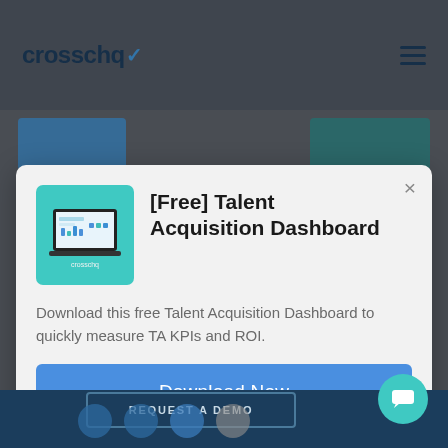[Figure (screenshot): crosschq website background with navigation bar showing logo and hamburger menu, partially visible content cards below, dark overlay behind modal]
[Free] Talent Acquisition Dashboard
Download this free Talent Acquisition Dashboard to quickly measure TA KPIs and ROI.
Download Now
REQUEST A DEMO